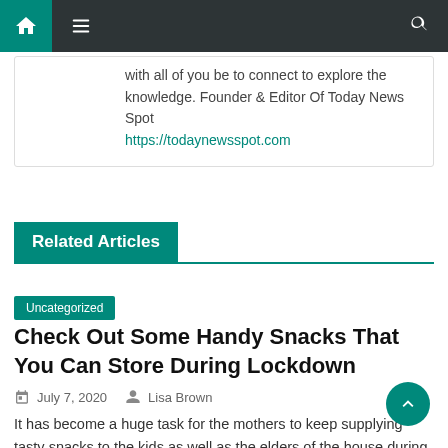Navigation bar with home, menu, and search icons
with all of you be to connect to explore the knowledge. Founder & Editor Of Today News Spot
https://todaynewsspot.com
Related Articles
Uncategorized
Check Out Some Handy Snacks That You Can Store During Lockdown
July 7, 2020   Lisa Brown
It has become a huge task for the mothers to keep supplying tasty snacks to the kids as well as the elders of the house during the lockdown. Due to the Covid-19 outbreak,